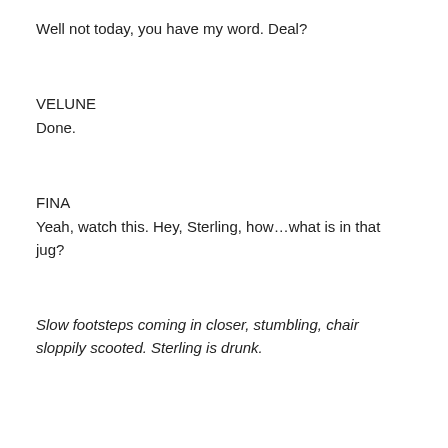Well not today, you have my word. Deal?
VELUNE
Done.
FINA
Yeah, watch this. Hey, Sterling, how…what is in that jug?
Slow footsteps coming in closer, stumbling, chair sloppily scooted. Sterling is drunk.